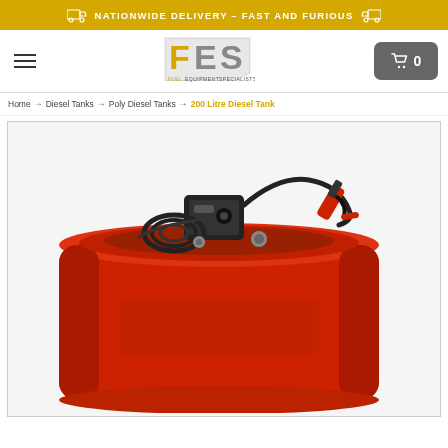NATIONWIDE DELIVERY - FAST AND FURIOUS
[Figure (logo): FES Fuel Equipment Specialists logo]
Home → Diesel Tanks → Poly Diesel Tanks → 200 Litre Diesel Tank
[Figure (photo): Red 200 litre poly diesel tank with pump equipment mounted on top, hose coiled, fuel nozzle attached]